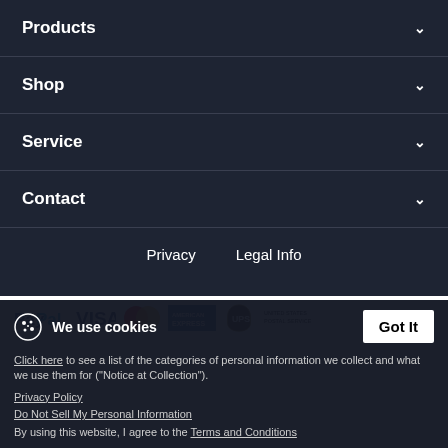Products
Shop
Service
Contact
Privacy   Legal Info
[Figure (logo): Payment method logos: PayPal, VISA, MasterCard, American Express, UPS, United States Postal Service]
We use cookies
Click here to see a list of the categories of personal information we collect and what we use them for ("Notice at Collection").
Privacy Policy
Do Not Sell My Personal Information
By using this website, I agree to the Terms and Conditions